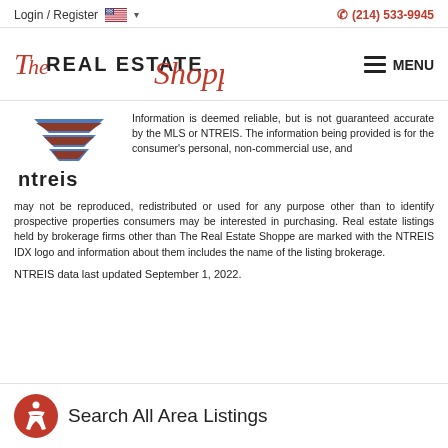Login / Register   (214) 533-9945
[Figure (logo): The Real Estate Shoppe logo with MENU button]
[Figure (logo): NTREIS logo with house icon and ntreis text]
Information is deemed reliable, but is not guaranteed accurate by the MLS or NTREIS. The information being provided is for the consumer's personal, non-commercial use, and may not be reproduced, redistributed or used for any purpose other than to identify prospective properties consumers may be interested in purchasing. Real estate listings held by brokerage firms other than The Real Estate Shoppe are marked with the NTREIS IDX logo and information about them includes the name of the listing brokerage.
NTREIS data last updated September 1, 2022.
Search All Area Listings